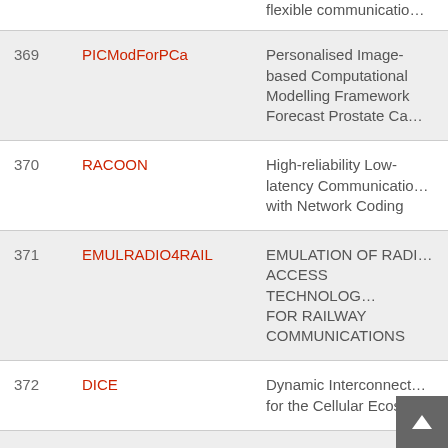| # | Acronym | Description |
| --- | --- | --- |
|  |  | flexible communicatio… |
| 369 | PICModForPCa | Personalised Image-based Computational Modelling Framework Forecast Prostate Ca… |
| 370 | RACOON | High-reliability Low-latency Communications with Network Coding |
| 371 | EMULRADIO4RAIL | EMULATION OF RADIO ACCESS TECHNOLOGY FOR RAILWAY COMMUNICATIONS |
| 372 | DICE | Dynamic Interconnect… for the Cellular Ecosys… |
| 373 | Safe4RAIL-2 | Safe architecture for Robust distributed Application Integration… |